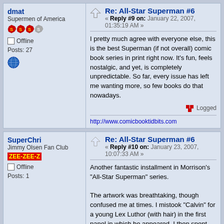Re: All-Star Superman #6 — Reply #9 on: January 22, 2007, 01:35:19 AM
I pretty much agree with everyone else, this is the best Superman (if not overall) comic book series in print right now.  It's fun, feels nostalgic, and yet, is completely unpredictable.  So far, every issue has left me wanting more, so few books do that nowadays.
http://www.comicbooktidbits.com
Re: All-Star Superman #6 — Reply #10 on: January 23, 2007, 10:07:33 AM
Another fantastic installment in Morrison's "All-Star Superman" series.

The artwork was breathtaking, though confused me at times. I mistook "Calvin" for a young Lex Luthor (with hair) in the first panel in which he appeared. I then spent the next couple pages trying to predict what evil scheme Luthor had in mind (or how he would lose his hair this issue). I also thought the imp was Mxyzptlk at first, but that's not Quitely's fault since the character WAS a Fifth Dimensional imp